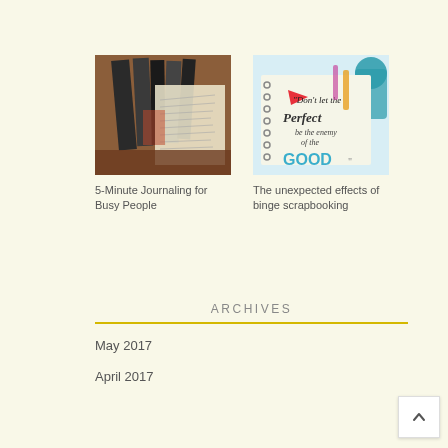[Figure (photo): Photo of journals and notebooks stacked in a box]
5-Minute Journaling for Busy People
[Figure (photo): Photo of a spiral notebook with handwritten inspirational quote 'Don't let the Perfect be the enemy of the GOOD']
The unexpected effects of binge scrapbooking
ARCHIVES
May 2017
April 2017